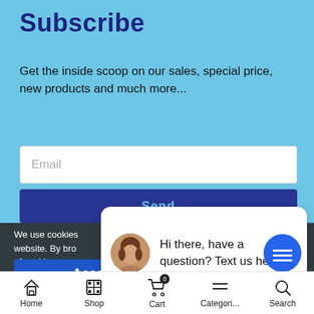Subscribe
Get the inside scoop on our sales, special price, new products and much more...
[Figure (screenshot): Email input field with placeholder text 'Email']
[Figure (screenshot): Send button (dark blue)]
We use cookies website. By bro of cookies.
Hi there, have a question? Text us here.
Accept
close
Home  Shop  Cart  Categori...  Search